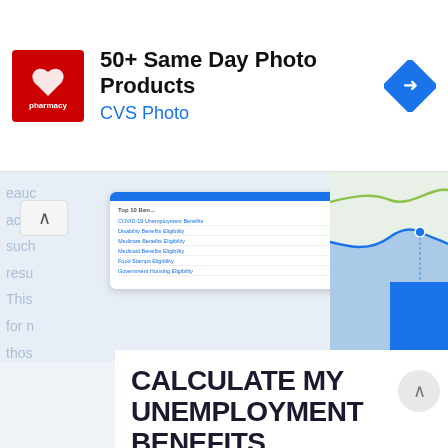[Figure (screenshot): CVS Pharmacy advertisement banner: red logo with heart and 'CVS pharmacy' text, '50+ Same Day Photo Products' headline, 'CVS Photo' subtitle in blue, blue diamond arrow icon on the right]
[Figure (screenshot): Screenshot of a benefits eligibility tool showing a widget card listing: COVID-19 Unemployment Benefits, Disability Benefits Eligibility, Medicare Benefits Eligibility, Medicaid Benefits Eligibility, Food Stamps Eligibility, Government Housing Eligibility — with percentage values. A line chart is shown on the right with green and blue curves.]
CALCULATE MY UNEMPLOYMENT BENEFITS
Try our new & improved Unemployment Benefit Finder today and see if you could qualify for up to $3,345/month in benefits!